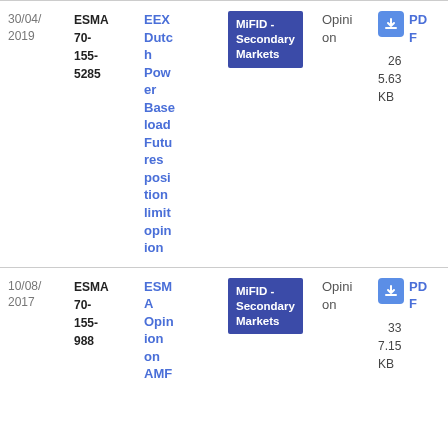| Date | Reference | Title | Topic | Type | Document |
| --- | --- | --- | --- | --- | --- |
| 30/04/2019 | ESMA 70-155-5285 | EEX Dutch Power Baseload Futures position limit opinion | MiFID - Secondary Markets | Opinion | PDF 26 5.63 KB |
| 10/08/2017 | ESMA 70-155-988 | ESMA Opinion on AMF | MiFID - Secondary Markets | Opinion | PDF 33 7.15 KB |